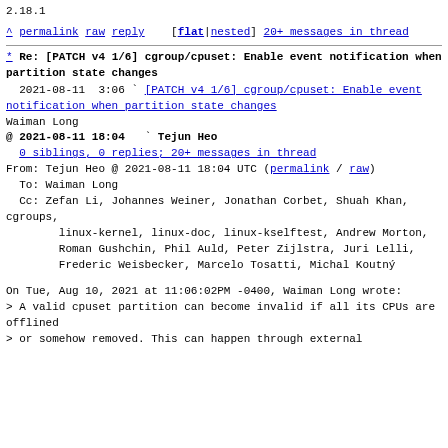2.18.1
^ permalink raw reply  [flat|nested] 20+ messages in thread
* Re: [PATCH v4 1/6] cgroup/cpuset: Enable event notification when partition state changes
  2021-08-11  3:06 ` [PATCH v4 1/6] cgroup/cpuset: Enable event notification when partition state changes
Waiman Long
@ 2021-08-11 18:04   ` Tejun Heo
  0 siblings, 0 replies; 20+ messages in thread
From: Tejun Heo @ 2021-08-11 18:04 UTC (permalink / raw)
  To: Waiman Long
  Cc: Zefan Li, Johannes Weiner, Jonathan Corbet, Shuah Khan, cgroups,
        linux-kernel, linux-doc, linux-kselftest, Andrew Morton,
        Roman Gushchin, Phil Auld, Peter Zijlstra, Juri Lelli,
        Frederic Weisbecker, Marcelo Tosatti, Michal Koutný

On Tue, Aug 10, 2021 at 11:06:02PM -0400, Waiman Long wrote:
> A valid cpuset partition can become invalid if all its CPUs are offlined
> or somehow removed. This can happen through external